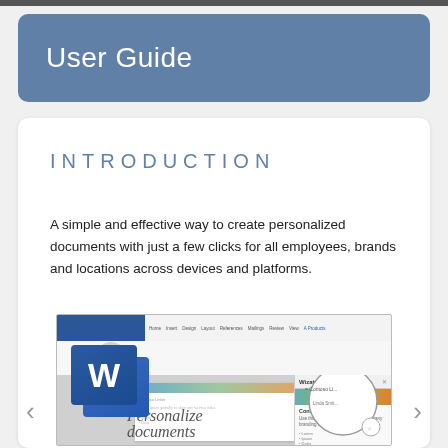User Guide
INTRODUCTION
A simple and effective way to create personalized documents with just a few clicks for all employees, brands and locations across devices and platforms.
[Figure (screenshot): Screenshot of Microsoft Word application with Wizati add-in panel open showing Contoso template and 'Personalize documents' text with a magnified view of Contoso Lite contact details]